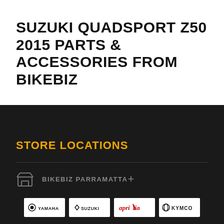SUZUKI QUADSPORT Z50 2015 PARTS & ACCESSORIES FROM BIKEBIZ
STORE LOCATIONS
BIKEBIZ PARRAMATTA